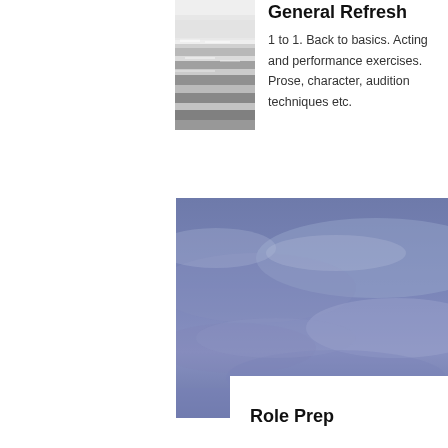[Figure (photo): Black and white photo of ocean waves and sky]
General Refresh
1 to 1. Back to basics. Acting and performance exercises. Prose, character, audition techniques etc.
[Figure (photo): Blue-purple moody cloudy sky photograph]
Role Prep